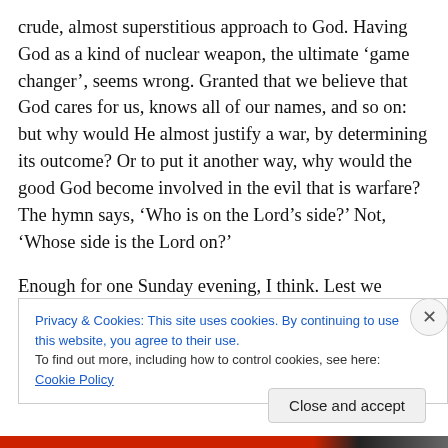crude, almost superstitious approach to God. Having God as a kind of nuclear weapon, the ultimate ‘game changer’, seems wrong. Granted that we believe that God cares for us, knows all of our names, and so on: but why would He almost justify a war, by determining its outcome? Or to put it another way, why would the good God become involved in the evil that is warfare? The hymn says, ‘Who is on the Lord’s side?’ Not, ‘Whose side is the Lord on?’
Enough for one Sunday evening, I think. Lest we forget. Let us love one another, as Jesus has loved us.
Privacy & Cookies: This site uses cookies. By continuing to use this website, you agree to their use.
To find out more, including how to control cookies, see here: Cookie Policy